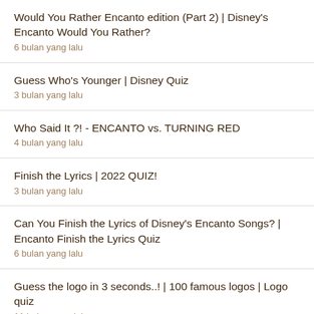Would You Rather Encanto edition (Part 2) | Disney's Encanto Would You Rather?
6 bulan yang lalu
Guess Who's Younger | Disney Quiz
3 bulan yang lalu
Who Said It ?! - ENCANTO vs. TURNING RED
4 bulan yang lalu
Finish the Lyrics | 2022 QUIZ!
3 bulan yang lalu
Can You Finish the Lyrics of Disney's Encanto Songs? | Encanto Finish the Lyrics Quiz
6 bulan yang lalu
Guess the logo in 3 seconds..! | 100 famous logos | Logo quiz
11 bulan yang lalu